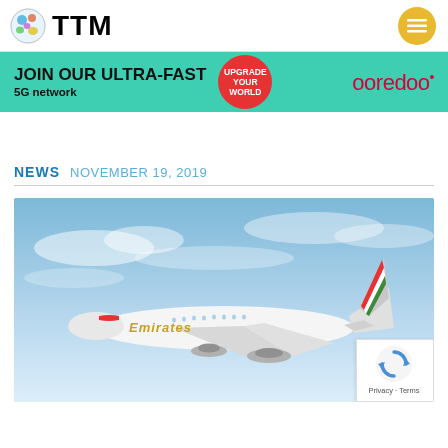TTM
[Figure (infographic): Ooredoo advertisement banner: JOIN OUR ULTRA-FAST 5G network. UPGRADE YOUR WORLD. ooredoo logo.]
NEWS   NOVEMBER 19, 2019
[Figure (photo): Emirates airline Boeing 777 aircraft in flight against a blue sky with light clouds. The aircraft is white with Emirates branding in gold on the fuselage and a red/green/white tail livery.]